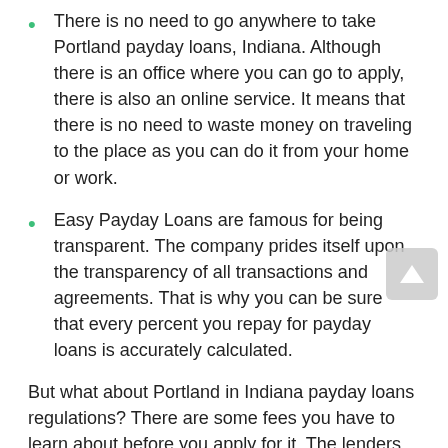There is no need to go anywhere to take Portland payday loans, Indiana. Although there is an office where you can go to apply, there is also an online service. It means that there is no need to waste money on traveling to the place as you can do it from your home or work.
Easy Payday Loans are famous for being transparent. The company prides itself upon the transparency of all transactions and agreements. That is why you can be sure that every percent you repay for payday loans is accurately calculated.
But what about Portland in Indiana payday loans regulations? There are some fees you have to learn about before you apply for it. The lenders cannot charge more than one dollar per every five dollars if you borrow around 30 dollars. Payday loans maximum APR makes up about 309 percent in case of a 100 dollars loan for two weeks. The amount you borrow is to be repaid in 30 days. The customers cannot take more than four Portland payday